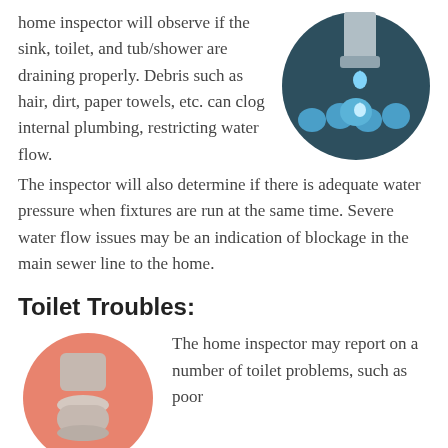home inspector will observe if the sink, toilet, and tub/shower are draining properly. Debris such as hair, dirt, paper towels, etc. can clog internal plumbing, restricting water flow. The inspector will also determine if there is adequate water pressure when fixtures are run at the same time. Severe water flow issues may be an indication of blockage in the main sewer line to the home.
[Figure (illustration): Circular dark teal icon showing a pipe/faucet draining water into a pool with water drops]
Toilet Troubles:
[Figure (illustration): Circular coral/salmon icon showing a toilet silhouette]
The home inspector may report on a number of toilet problems, such as poor